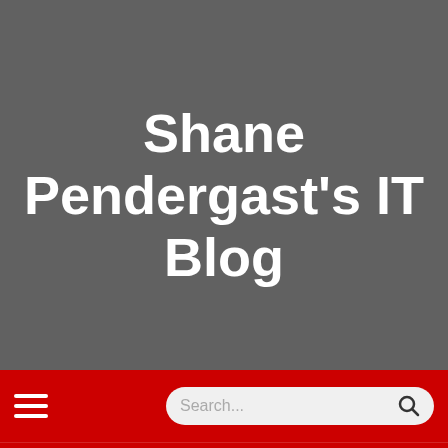Shane Pendergast's IT Blog
[Figure (screenshot): Navigation bar with hamburger menu icon on left and search box with magnifying glass icon on right, on red background]
[Figure (screenshot): Tab bar with 'Top Stories' tab (with dots icon) and 'Shorthand JS | Shane Pr...' tab on red background]
Category Web Plu...